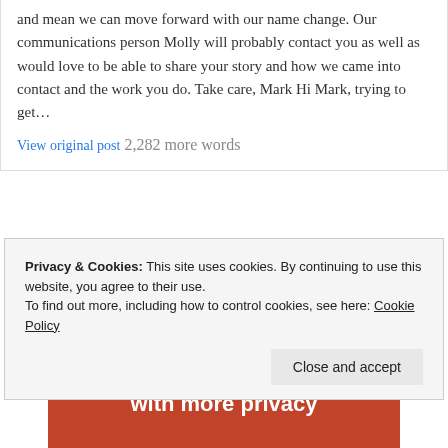and mean we can move forward with our name change. Our communications person Molly will probably contact you as well as would love to be able to share your story and how we came into contact and the work you do. Take care, Mark Hi Mark, trying to get…
View original post 2,282 more words
Advertisements
[Figure (other): Orange advertisement banner with white bold text: Search, browse, and email with more privacy]
Privacy & Cookies: This site uses cookies. By continuing to use this website, you agree to their use. To find out more, including how to control cookies, see here: Cookie Policy
Close and accept